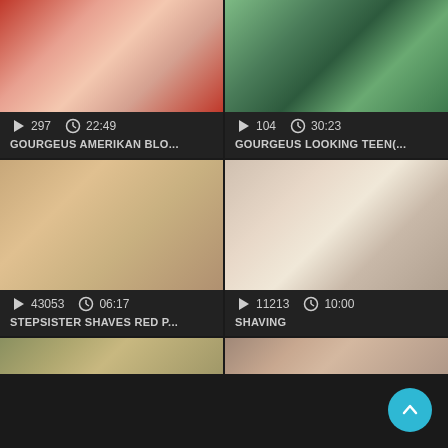[Figure (screenshot): Video thumbnail grid showing adult video content cards with thumbnails, play counts, durations, and titles]
297  22:49  GOURGEUS AMERIKAN BLO...
104  30:23  GOURGEUS LOOKING TEEN(...
43053  06:17  STEPSISTER SHAVES RED P...
11213  10:00  SHAVING